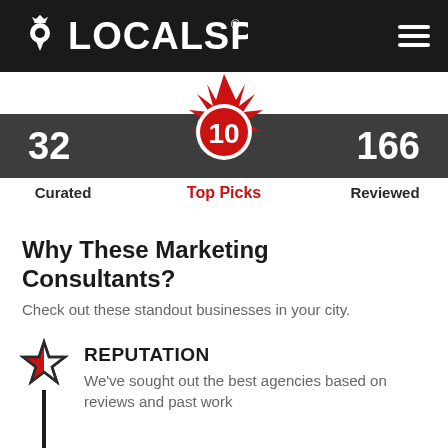LOCALSPARK®
[Figure (infographic): LocalSpark badge with red spark/flame icon above a dark stats bar showing 32 Curated, 10 Top Picks, 166 Reviewed]
Why These Marketing Consultants?
Check out these standout businesses in your city.
REPUTATION
We've sought out the best agencies based on reviews and past work